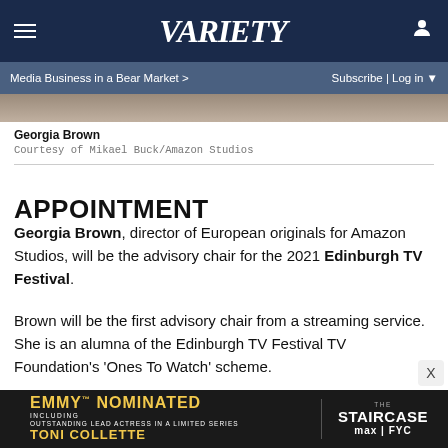Variety | Media Business in a Bear Market > | Subscribe | Log in
[Figure (photo): Cropped photo of Georgia Brown, partially visible at top of page]
Georgia Brown
Courtesy of Mikael Buck/Amazon Studios
APPOINTMENT
Georgia Brown, director of European originals for Amazon Studios, will be the advisory chair for the 2021 Edinburgh TV Festival.
Brown will be the first advisory chair from a streaming service. She is an alumna of the Edinburgh TV Festival TV Foundation's 'Ones To Watch' scheme.
[Figure (other): Emmy Nominated ad banner: OUTSTANDING LEAD ACTRESS IN A LIMITED SERIES TONI COLLETTE / THE STAIRCASE max FYC]